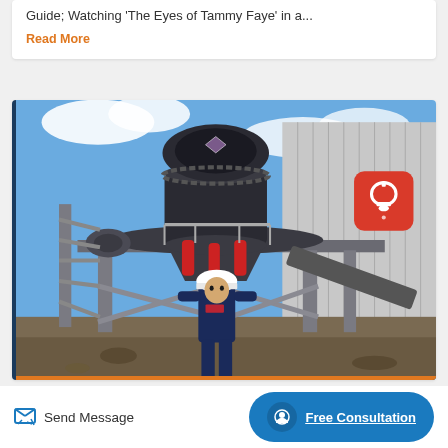Guide; Watching 'The Eyes of Tammy Faye' in a...
Read More
[Figure (photo): A person wearing a white hard hat and dark work uniform stands in front of a large industrial cone crusher machine mounted on a steel frame platform. The equipment is black and grey with red hydraulic cylinders. A corrugated metal wall is visible in the background under a blue sky with clouds. An orange notification bell button overlay is visible in the upper right corner.]
Send Message
Free Consultation